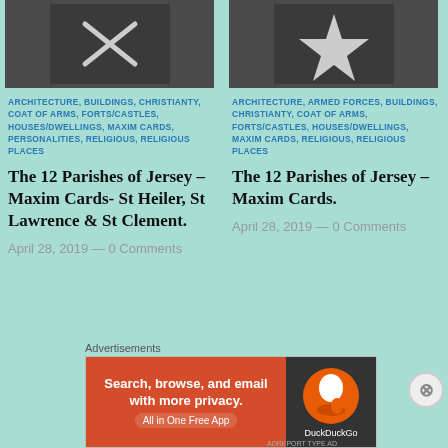[Figure (photo): Dark circular image with cross/X symbol, left column top]
[Figure (photo): Dark circular image with star symbol, right column top]
ARCHITECTURE, BUILDINGS, CHRISTIANTY, COAT OF ARMS, FORTS/CASTLES, HOUSES/DWELLINGS, MAXIM CARDS, PERSONALITIES, RELIGIOUS, RELIGIOUS PLACES
ARCHITECTURE, ARMED FORCES, BUILDINGS, CHRISTIANTY, COAT OF ARMS, FORTS/CASTLES, HOUSES/DWELLINGS, MAXIM CARDS, RELIGIOUS, RELIGIOUS PLACES
The 12 Parishes of Jersey – Maxim Cards- St Heiler, St Lawrence & St Clement.
The 12 Parishes of Jersey – Maxim Cards.
April 28, 2019 — 0 Comments
April 28, 2019 — 0 Comments
Advertisements
[Figure (screenshot): DuckDuckGo advertisement banner: Search, browse, and email with more privacy. All in One Free App.]